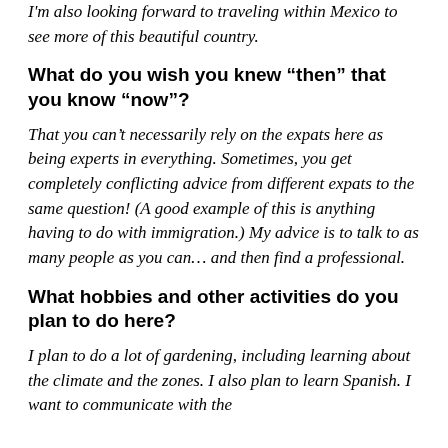I'm also looking forward to traveling within Mexico to see more of this beautiful country.
What do you wish you knew “then” that you know “now”?
That you can’t necessarily rely on the expats here as being experts in everything. Sometimes, you get completely conflicting advice from different expats to the same question! (A good example of this is anything having to do with immigration.) My advice is to talk to as many people as you can… and then find a professional.
What hobbies and other activities do you plan to do here?
I plan to do a lot of gardening, including learning about the climate and the zones. I also plan to learn Spanish. I want to communicate with the